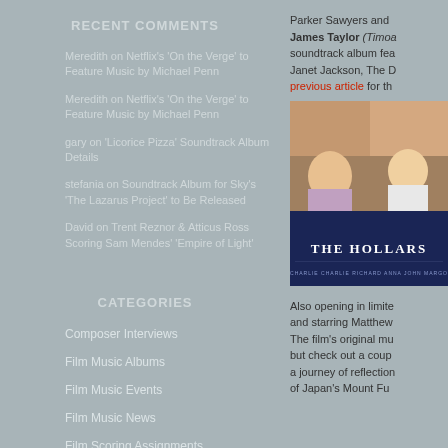RECENT COMMENTS
Meredith on Netflix's 'On the Verge' to Feature Music by Michael Penn
Meredith on Netflix's 'On the Verge' to Feature Music by Michael Penn
gary on 'Licorice Pizza' Soundtrack Album Details
stefania on Soundtrack Album for Sky's 'The Lazarus Project' to Be Released
David on Trent Reznor & Atticus Ross Scoring Sam Mendes' 'Empire of Light'
CATEGORIES
Composer Interviews
Film Music Albums
Film Music Events
Film Music News
Film Scoring Assignments
Television Music Albums
TV Music Albums
TV Scoring Assignments
Parker Sawyers and James Taylor (Timoa... soundtrack album fea... Janet Jackson, The D... previous article for th...
[Figure (photo): Movie poster for 'The Hollars' showing group of people and title text on dark blue background]
Also opening in limite... and starring Matthew... The film's original mu... but check out a coup... a journey of reflection... of Japan's Mount Fu...